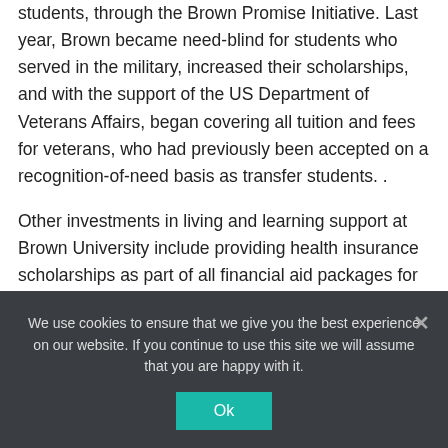students, through the Brown Promise Initiative. Last year, Brown became need-blind for students who served in the military, increased their scholarships, and with the support of the US Department of Veterans Affairs, began covering all tuition and fees for veterans, who had previously been accepted on a recognition-of-need basis as transfer students. .
Other investments in living and learning support at Brown University include providing health insurance scholarships as part of all financial aid packages for uninsured students; Direct scholarship support that pays for all required books and study materials at Brown Bookstore; and the Experimental Travel Program in which the University purchases tickets for
We use cookies to ensure that we give you the best experience on our website. If you continue to use this site we will assume that you are happy with it.